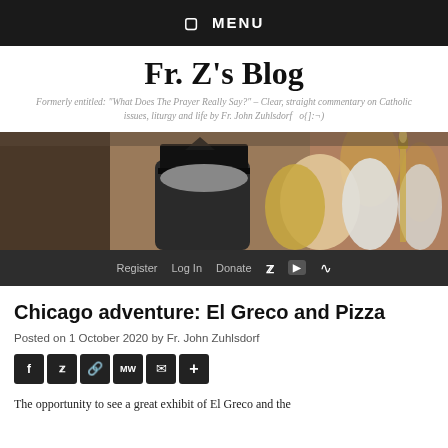☰  MENU
Fr. Z's Blog
Formerly entitled: "What Does The Prayer Really Say?" – Clear, straight commentary on Catholic issues, liturgy and life by Fr. John Zuhlsdorf   o{]:¬)
[Figure (photo): Back of a priest in black biretta facing an altar with clergy in white vestments in a church interior]
Register   Log In   Donate   [Twitter] [YouTube] [RSS]
Chicago adventure: El Greco and Pizza
Posted on 1 October 2020 by Fr. John Zuhlsdorf
[Figure (infographic): Social share buttons row: Facebook, Twitter, share link, MeWe, email, more]
The opportunity to see a great exhibit of El Greco and the